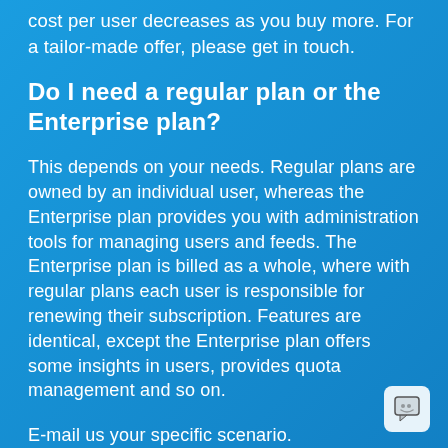cost per user decreases as you buy more. For a tailor-made offer, please get in touch.
Do I need a regular plan or the Enterprise plan?
This depends on your needs. Regular plans are owned by an individual user, whereas the Enterprise plan provides you with administration tools for managing users and feeds. The Enterprise plan is billed as a whole, where with regular plans each user is responsible for renewing their subscription. Features are identical, except the Enterprise plan offers some insights in users, provides quota management and so on.
E-mail us your specific scenario.